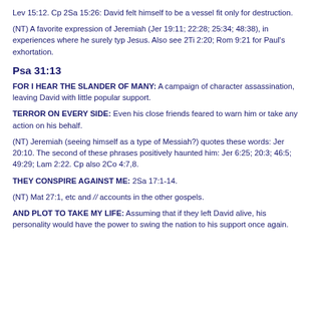Lev 15:12. Cp 2Sa 15:26: David felt himself to be a vessel fit only for destruction.
(NT) A favorite expression of Jeremiah (Jer 19:11; 22:28; 25:34; 48:38), in experiences where he surely typ Jesus. Also see 2Ti 2:20; Rom 9:21 for Paul's exhortation.
Psa 31:13
FOR I HEAR THE SLANDER OF MANY: A campaign of character assassination, leaving David with little popular support.
TERROR ON EVERY SIDE: Even his close friends feared to warn him or take any action on his behalf.
(NT) Jeremiah (seeing himself as a type of Messiah?) quotes these words: Jer 20:10. The second of these phrases positively haunted him: Jer 6:25; 20:3; 46:5; 49:29; Lam 2:22. Cp also 2Co 4:7,8.
THEY CONSPIRE AGAINST ME: 2Sa 17:1-14.
(NT) Mat 27:1, etc and // accounts in the other gospels.
AND PLOT TO TAKE MY LIFE: Assuming that if they left David alive, his personality would have the power to swing the nation to his support once again.